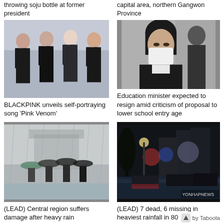throwing soju bottle at former president
capital area, northern Gangwon Province
[Figure (photo): BLACKPINK group photo — four women in black outfits against light blue background]
[Figure (photo): Woman wearing white face mask and dark jacket, walking indoors]
BLACKPINK unveils self-portraying song 'Pink Venom'
Education minister expected to resign amid criticism of proposal to lower school entry age
[Figure (photo): People walking with umbrellas in heavy rain near a landmark gate, misty conditions]
[Figure (photo): Flooded street at night with vehicles and lights reflecting in water, Yonhap News watermark]
(LEAD) Central region suffers damage after heavy rain
(LEAD) 7 dead, 6 missing in heaviest rainfall in 80 years
by Taboola